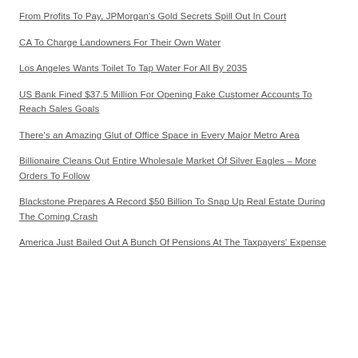From Profits To Pay, JPMorgan's Gold Secrets Spill Out In Court
CA To Charge Landowners For Their Own Water
Los Angeles Wants Toilet To Tap Water For All By 2035
US Bank Fined $37.5 Million For Opening Fake Customer Accounts To Reach Sales Goals
There's an Amazing Glut of Office Space in Every Major Metro Area
Billionaire Cleans Out Entire Wholesale Market Of Silver Eagles – More Orders To Follow
Blackstone Prepares A Record $50 Billion To Snap Up Real Estate During The Coming Crash
America Just Bailed Out A Bunch Of Pensions At The Taxpayers' Expense